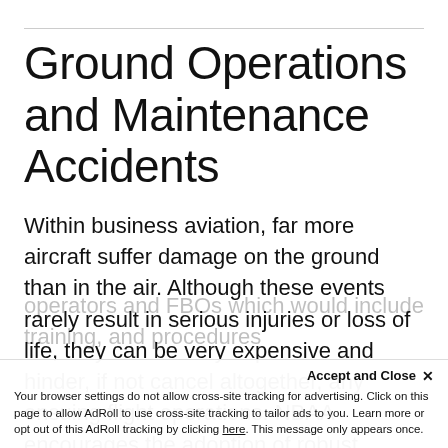Ground Operations and Maintenance Accidents
Within business aviation, far more aircraft suffer damage on the ground than in the air. Although these events rarely result in serious injuries or loss of life, they can be very expensive and hinder, if not cancel altogether, any ensuing flight operations. NBAA encourages the adoption of robust Safety Management Systems (SMS) among all operators and FBOs which would include training, and procedures
Accept and Close ×
Your browser settings do not allow cross-site tracking for advertising. Click on this page to allow AdRoll to use cross-site tracking to tailor ads to you. Learn more or opt out of this AdRoll tracking by clicking here. This message only appears once.